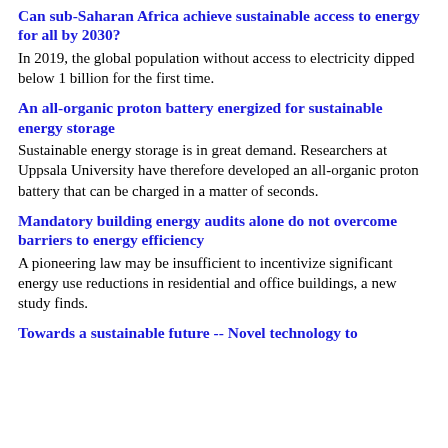Can sub-Saharan Africa achieve sustainable access to energy for all by 2030?
In 2019, the global population without access to electricity dipped below 1 billion for the first time.
An all-organic proton battery energized for sustainable energy storage
Sustainable energy storage is in great demand. Researchers at Uppsala University have therefore developed an all-organic proton battery that can be charged in a matter of seconds.
Mandatory building energy audits alone do not overcome barriers to energy efficiency
A pioneering law may be insufficient to incentivize significant energy use reductions in residential and office buildings, a new study finds.
Towards a sustainable future -- Novel technology to